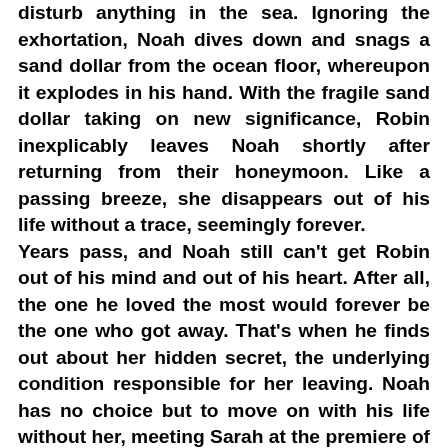disturb anything in the sea. Ignoring the exhortation, Noah dives down and snags a sand dollar from the ocean floor, whereupon it explodes in his hand. With the fragile sand dollar taking on new significance, Robin inexplicably leaves Noah shortly after returning from their honeymoon. Like a passing breeze, she disappears out of his life without a trace, seemingly forever.
Years pass, and Noah still can't get Robin out of his mind and out of his heart. After all, the one he loved the most would forever be the one who got away. That's when he finds out about her hidden secret, the underlying condition responsible for her leaving. Noah has no choice but to move on with his life without her, meeting Sarah at the premiere of SAND DOLLAR, the movie he wrote about his time with Robin.